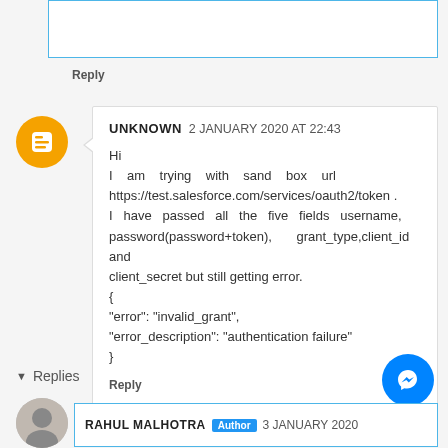Reply
UNKNOWN 2 JANUARY 2020 AT 22:43
Hi
I am trying with sand box url https://test.salesforce.com/services/oauth2/token .
I have passed all the five fields username, password(password+token), grant_type,client_id and client_secret but still getting error.
{
"error": "invalid_grant",
"error_description": "authentication failure"
}
Reply
Replies
RAHUL MALHOTRA Author 3 JANUARY 2020